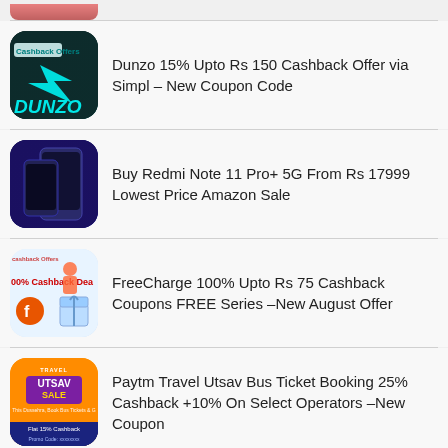[Figure (illustration): Partial thumbnail of a deal/offer image at the top, cropped]
Dunzo 15% Upto Rs 150 Cashback Offer via Simpl - New Coupon Code
Buy Redmi Note 11 Pro+ 5G From Rs 17999 Lowest Price Amazon Sale
FreeCharge 100% Upto Rs 75 Cashback Coupons FREE Series -New August Offer
Paytm Travel Utsav Bus Ticket Booking 25% Cashback +10% On Select Operators -New Coupon
BigBasket Flat Rs 200 Discount Coupon on 1000